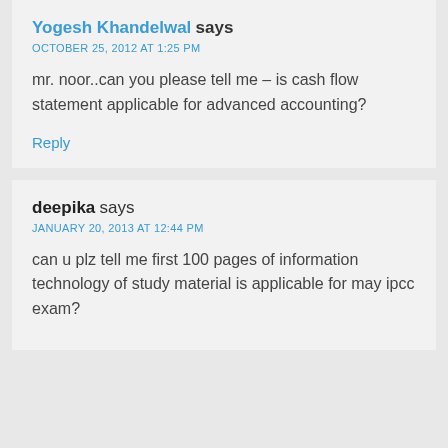Yogesh Khandelwal says
OCTOBER 25, 2012 AT 1:25 PM
mr. noor..can you please tell me – is cash flow statement applicable for advanced accounting?
Reply
deepika says
JANUARY 20, 2013 AT 12:44 PM
can u plz tell me first 100 pages of information technology of study material is applicable for may ipcc exam?